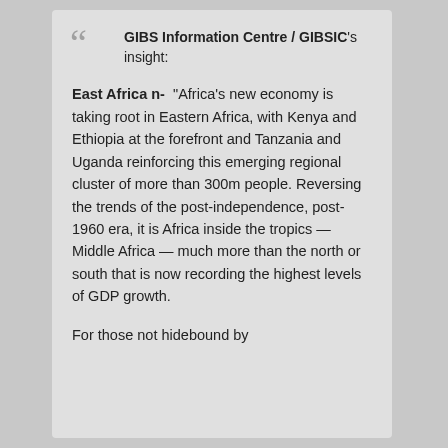GIBS Information Centre / GIBSIC's insight:
East African-  “Africa’s new economy is taking root in Eastern Africa, with Kenya and Ethiopia at the forefront and Tanzania and Uganda reinforcing this emerging regional cluster of more than 300m people. Reversing the trends of the post-independence, post-1960 era, it is Africa inside the tropics — Middle Africa — much more than the north or south that is now recording the highest levels of GDP growth.
For those not hidebound by